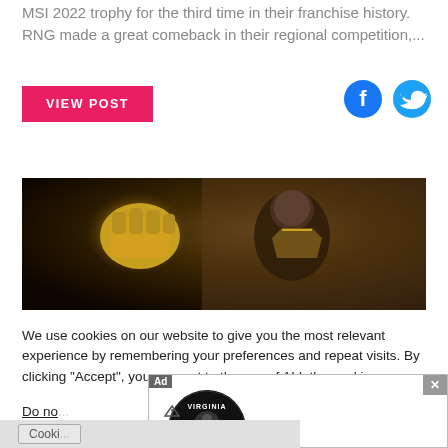MSI 2022 trophy for the third time in their franchise history. RNG made a great comeback in their regional competition,...
VIEW POST
[Figure (illustration): Facebook and Twitter social sharing icons in blue]
[Figure (photo): Video game screenshot showing a muscular armored character with a glowing golden gauntlet fist raised, dark stone dungeon background]
We use cookies on our website to give you the most relevant experience by remembering your preferences and repeat visits. By clicking “Accept”, you consent to the use of ALL the cookies.
Do no...
[Figure (logo): Virginia Tire & Auto circular logo with black background and green text, showing tire and hand icon. Ad overlay with close button.]
Cooki...